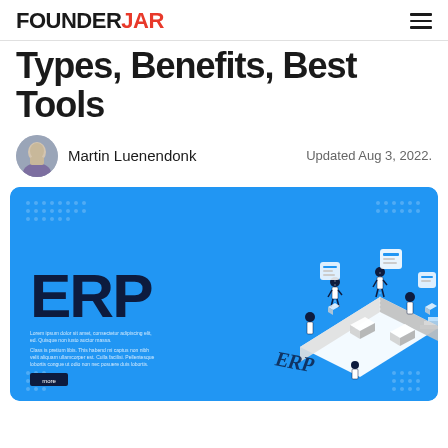FOUNDERJAR
Types, Benefits, Best Tools
Martin Luenendonk   Updated Aug 3, 2022.
[Figure (illustration): ERP isometric illustration showing business people working on a large ERP platform with connected modules, on a bright blue background with decorative dot patterns in corners. Large bold ERP text on the left side with placeholder lorem ipsum text and a 'more' button.]